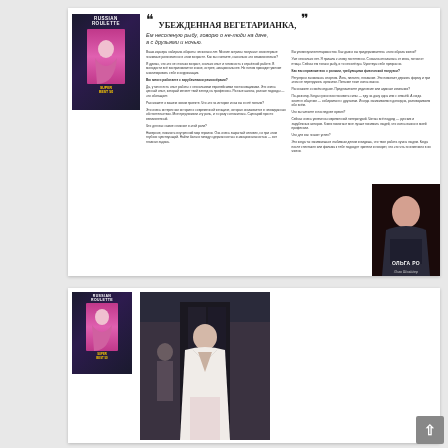[Figure (photo): Russian Roulette magazine cover showing a woman in pink dress on dark background]
«УБЕЖДЕННАЯ ВЕГЕТАРИАНКА, ем несоленую рыбу, говорю о не-люди на даче, а с друзьями и сночью.»
Magazine article text in Russian, two-column layout with interview questions and answers
[Figure (photo): Photo of Olya Ro (Ольга Ро) in dark outfit against dark background, with caption 'ОЛЬГА РО Лого Шнайдер']
[Figure (photo): Russian Roulette magazine cover - second instance]
[Figure (photo): Fashion photo of a woman in white blazer and light pink trousers standing in front of dark backdrop]